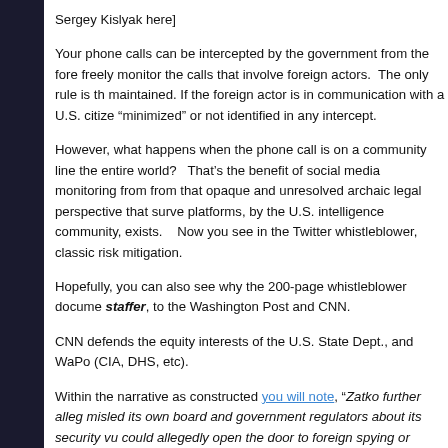Sergey Kislyak here]
Your phone calls can be intercepted by the government from the fore freely monitor the calls that involve foreign actors. The only rule is th maintained. If the foreign actor is in communication with a U.S. citize “minimized” or not identified in any intercept.
However, what happens when the phone call is on a community line the entire world? That’s the benefit of social media monitoring from from that opaque and unresolved archaic legal perspective that surve platforms, by the U.S. intelligence community, exists. Now you see in the Twitter whistleblower, classic risk mitigation.
Hopefully, you can also see why the 200-page whistleblower docume staffer, to the Washington Post and CNN.
CNN defends the equity interests of the U.S. State Dept., and WaPo (CIA, DHS, etc).
Within the narrative as constructed you will note, “Zatko further alleg misled its own board and government regulators about its security vu could allegedly open the door to foreign spying or manipulation, hack